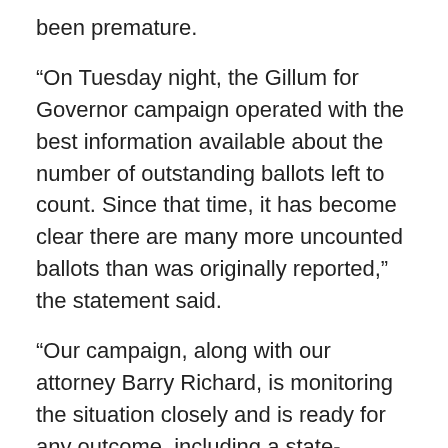been premature.
“On Tuesday night, the Gillum for Governor campaign operated with the best information available about the number of outstanding ballots left to count. Since that time, it has become clear there are many more uncounted ballots than was originally reported,” the statement said.
“Our campaign, along with our attorney Barry Richard, is monitoring the situation closely and is ready for any outcome, including a state-mandated recount.”
The recounts in this year’s statewide races would be the first triggered since Florida’s election laws were rewritten after the 2000 presidential election, in which Republican George W. Bush finished with a 500-vote lead over Democrat Al Gore.